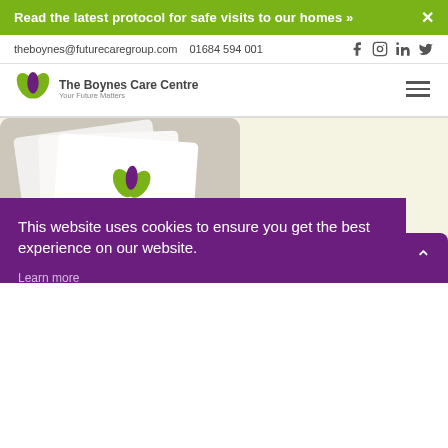Read the latest protocol for safe visits to our homes »  ×
theboynes@futurecaregroup.com  01684 594 001
[Figure (logo): The Boynes Care Centre logo with green and purple leaf icon and tagline 'Your Future Matters']
[Figure (photo): Photo of Future Care branded brochures/stationery fanned out on a surface]
This website uses cookies to ensure you get the best experience on our website.
Learn more
Got it!
Dementia Strategy Leaflet